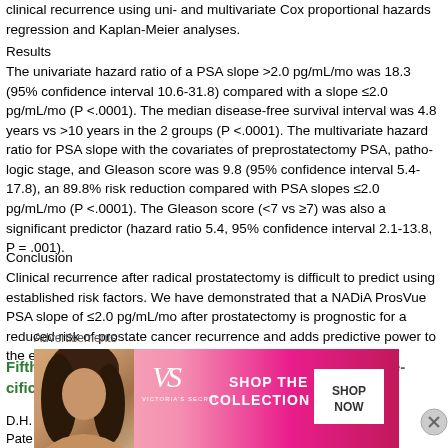clinical recurrence using uni- and multivariate Cox proportional hazards regression and Kaplan-Meier analyses.
Results
The univariate hazard ratio of a PSA slope >2.0 pg/mL/mo was 18.3 (95% confidence interval 10.6-31.8) compared with a slope ≤2.0 pg/mL/mo (P <.0001). The median disease-free survival interval was 4.8 years vs >10 years in the 2 groups (P <.0001). The multivariate hazard ratio for PSA slope with the covariates of preprostatectomy PSA, pathologic stage, and Gleason score was 9.8 (95% confidence interval 5.4-17.8), an 89.8% risk reduction compared with PSA slopes ≤2.0 pg/mL/mo (P <.0001). The Gleason score (<7 vs ≥7) was also a significant predictor (hazard ratio 5.4, 95% confidence interval 2.1-13.8, P = .001).
Conclusion
Clinical recurrence after radical prostatectomy is difficult to predict using established risk factors. We have demonstrated that a NADiA ProsVue PSA slope of ≤2.0 pg/mL/mo after prostatectomy is prognostic for a reduced risk of prostate cancer recurrence and adds predictive power to the established risk factors.
Fifth–Generation Digital Immunoassay for Prostate Specific Antigen by Single Molecule Array Technology.
D.H. Wilson, D.W. Hanlon, G.K. Provuncher, L. Chang, L. Song, P.P. Patel...
[Figure (photo): Advertisement banner for Victoria's Secret showing a model and text 'SHOP THE COLLECTION' with a 'SHOP NOW' button]